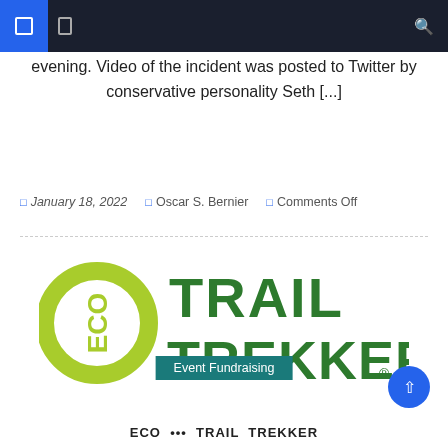Navigation bar
evening. Video of the incident was posted to Twitter by conservative personality Seth [...]
January 18, 2022  Oscar S. Bernier  Comments Off
[Figure (logo): Eco Trail Trekker logo — lime green 'ECO' ring mark on the left with dark green 'TRAIL TREKKER.' text on the right]
Event Fundraising
ECO...